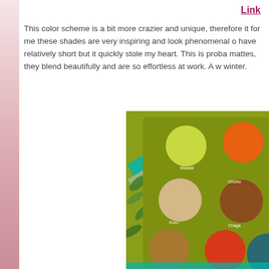Link
This color scheme is a bit more crazier and unique, therefore it for me these shades are very inspiring and look phenomenal o have relatively short but it quickly stole my heart. This is proba mattes, they blend beautifully and are so effortless at work. A w winter.
[Figure (photo): Close-up photo of a green eyeshadow palette with multiple circular pans of eyeshadow in various colors including yellow-green, orange, beige, brown, red-orange, copper/brown shimmer, and teal. The palette pans are labeled with names such as Maasai, Oromo, Koro, Chaga, Ashanti, Kuta, Kuba. The palette is placed on a surface with teal glittery ribbon and green foliage.]